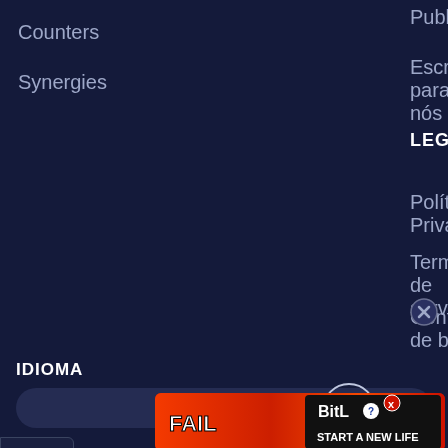Counters
Synergies
Publicidade
Escreva para nós
LEGAL
Política de Privacidade
Termos de serviço
Configurações de bolos
IDIOMA
Português
[Figure (screenshot): BitLife advertisement banner with FAIL text and character, fire effects, and START A NEW LIFE text]